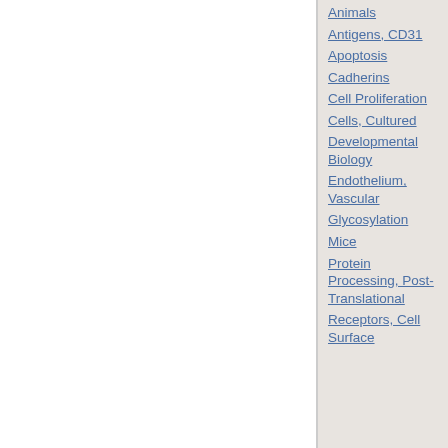Animals
Antigens, CD31
Apoptosis
Cadherins
Cell Proliferation
Cells, Cultured
Developmental Biology
Endothelium, Vascular
Glycosylation
Mice
Protein Processing, Post-Translational
Receptors, Cell Surface